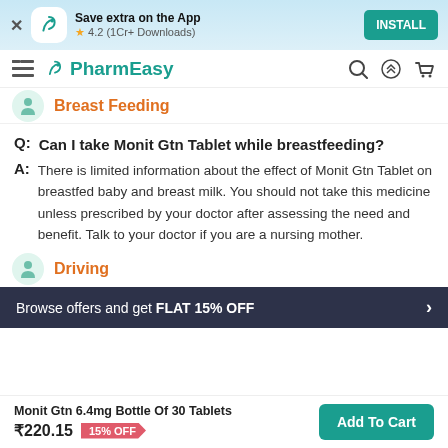Save extra on the App ★ 4.2 (1Cr+ Downloads) INSTALL
PharmEasy
Breast Feeding
Q: Can I take Monit Gtn Tablet while breastfeeding?
A: There is limited information about the effect of Monit Gtn Tablet on breastfed baby and breast milk. You should not take this medicine unless prescribed by your doctor after assessing the need and benefit. Talk to your doctor if you are a nursing mother.
Driving
Browse offers and get FLAT 15% OFF
Monit Gtn 6.4mg Bottle Of 30 Tablets ₹220.15 15% OFF Add To Cart